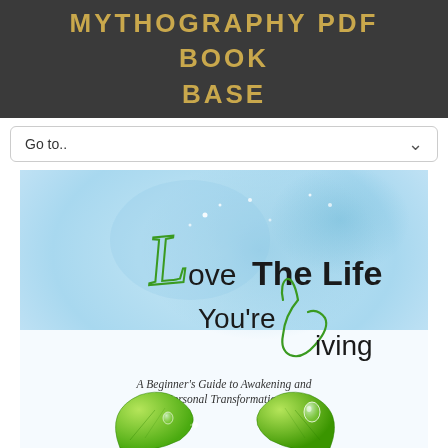MYTHOGRAPHY PDF BOOK BASE
Go to..
[Figure (illustration): Book cover for 'Love The Life You're Living: A Beginner's Guide to Awakening and Personal Transformation'. Features a light blue watercolor background with stylized script and bold text for the title, and green leaves with water droplets at the bottom.]